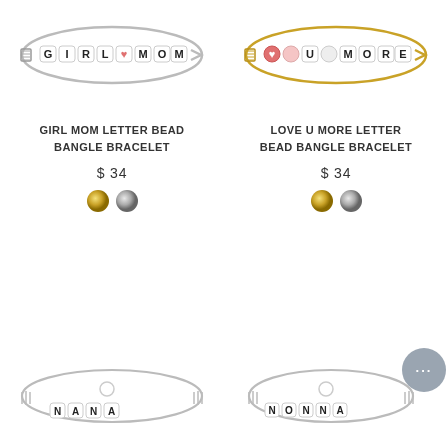[Figure (photo): Girl Mom letter bead bangle bracelet on silver wire, top left]
[Figure (photo): Love U More letter bead bangle bracelet on gold wire, top right]
GIRL MOM LETTER BEAD BANGLE BRACELET
$ 34
[Figure (illustration): Gold and silver color swatches]
LOVE U MORE LETTER BEAD BANGLE BRACELET
$ 34
[Figure (illustration): Gold and silver color swatches]
[Figure (photo): NANA letter bead bangle bracelet on silver wire, bottom left]
[Figure (photo): NONNA letter bead bangle bracelet on silver wire, bottom right]